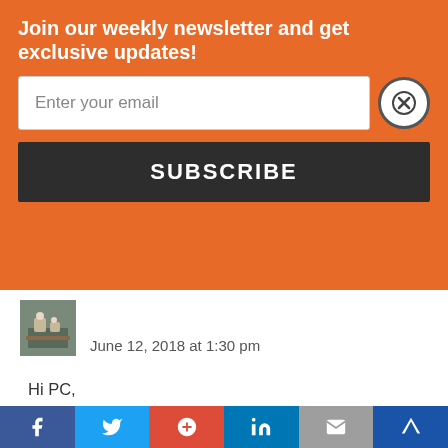Join our weekly newsletter and get exclusive updates!
Enter your email
SUBSCRIBE
June 12, 2018 at 1:30 pm
Hi PC,
Here are my replies. Please know that the following are based on my knowledge and i recommend that you consult IRAS.
Q1- Not 100K. it will be on the entire 120K withdrawn.
Q2- on withdrawn amount